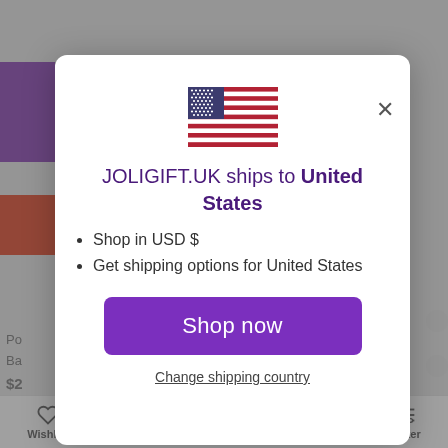[Figure (screenshot): Modal dialog on an e-commerce website. Contains a US flag, title 'JOLIGIFT.UK ships to United States', bullet points about USD and shipping, a 'Shop now' button, and a 'Change shipping country' link.]
JOLIGIFT.UK ships to United States
Shop in USD $
Get shipping options for United States
Shop now
Change shipping country
Wishlist  Compare  Cart  Search  Filter